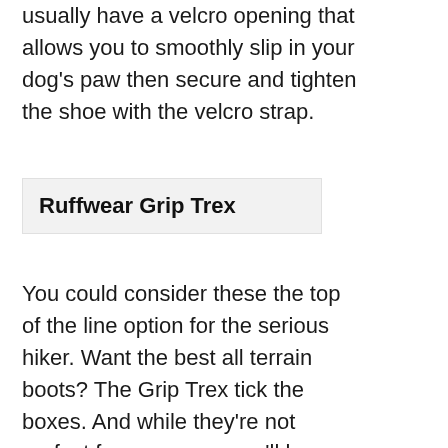usually have a velcro opening that allows you to smoothly slip in your dog's paw then secure and tighten the shoe with the velcro strap.
Ruffwear Grip Trex
You could consider these the top of the line option for the serious hiker. Want the best all terrain boots? The Grip Trex tick the boxes. And while they're not perfect for everyone, you'll be hard pressed to find better